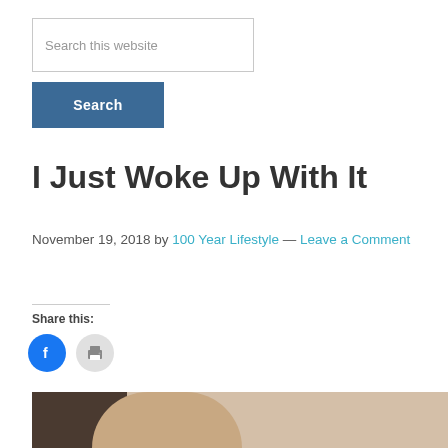Search this website
Search
I Just Woke Up With It
November 19, 2018 by 100 Year Lifestyle — Leave a Comment
Share this:
[Figure (photo): Woman waking up in bed, stretching, with dark headboard visible on left side of frame]